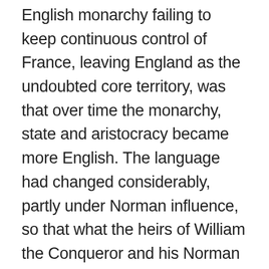English monarchy failing to keep continuous control of France, leaving England as the undoubted core territory, was that over time the monarchy, state and aristocracy became more English. The language had changed considerably, partly under Norman influence, so that what the heirs of William the Conqueror and his Norman barons spoke was Middle English rather than Anglo-Saxon and unlike Anglo-Saxon is at least partly comprehensible to an educated native level speaker of modern English. There was a growth of English literature of a kind that is still read, linked with the growing tendency of the upper class to be primarily English.